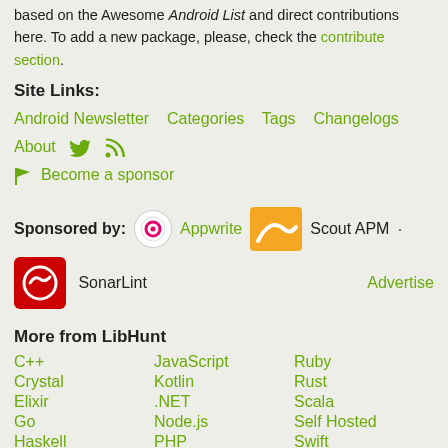based on the Awesome Android List and direct contributions here. To add a new package, please, check the contribute section.
Site Links:
Android Newsletter   Categories   Tags   Changelogs
About  [twitter]  [rss]
[flag] Become a sponsor
Sponsored by: Appwrite  Scout APM · SonarLint  Advertise
More from LibHunt
C++   JavaScript   Ruby
Crystal   Kotlin   Rust
Elixir   .NET   Scala
Go   Node.js   Self Hosted
Haskell   PHP   Swift